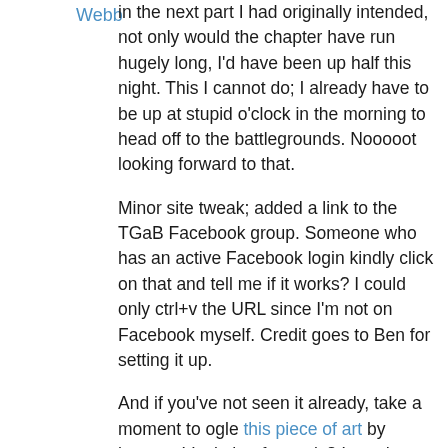Webb
in the next part I had originally intended, not only would the chapter have run hugely long, I'd have been up half this night. This I cannot do; I already have to be up at stupid o'clock in the morning to head off to the battlegrounds. Nooooot looking forward to that.
Minor site tweak; added a link to the TGaB Facebook group. Someone who has an active Facebook login kindly click on that and tell me if it works? I could only ctrl+v the URL since I'm not on Facebook myself. Credit goes to Ben for setting it up.
And if you've not seen it already, take a moment to ogle this piece of art by hoarous! Isn't that fantastic? I need to get off my duff and set up a gallery page for the